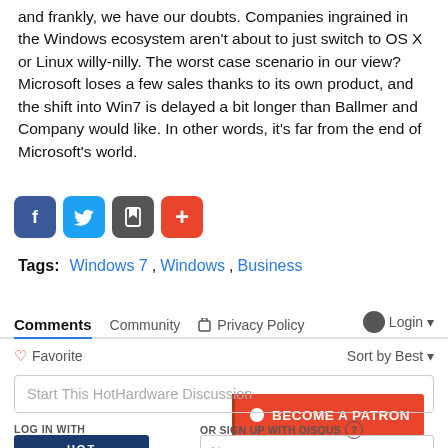and frankly, we have our doubts. Companies ingrained in the Windows ecosystem aren't about to just switch to OS X or Linux willy-nilly. The worst case scenario in our view? Microsoft loses a few sales thanks to its own product, and the shift into Win7 is delayed a bit longer than Ballmer and Company would like. In other words, it's far from the end of Microsoft's world.
[Figure (infographic): Social share buttons: Facebook (blue), Twitter (light blue), Save (dark gray), Plus/more (red-orange). Patreon button on the right (red-orange): BECOME A PATRON]
Tags:  Windows 7  ,  Windows  ,  Business
Comments  Community  Privacy Policy  Login
Favorite  Sort by Best
Start This HotHardware Discussion
LOG IN WITH
OR SIGN UP WITH DISQUS ?
[Figure (logo): HotHardware logo — dark blue background with HOT HARDWARE text]
Name